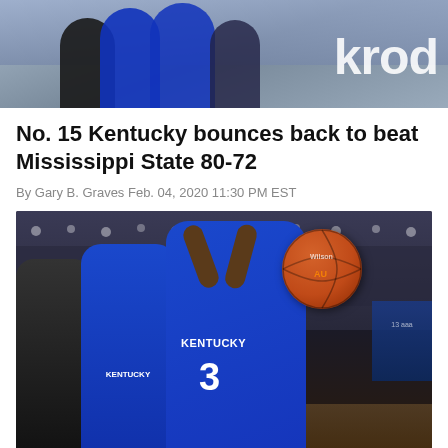[Figure (photo): Top cropped photo of basketball players with 'Krod' text overlay visible on right side]
No. 15 Kentucky bounces back to beat Mississippi State 80-72
By Gary B. Graves Feb. 04, 2020 11:30 PM EST
[Figure (photo): Kentucky basketball player wearing jersey number 3 grabbing a rebound with a Wilson basketball, surrounded by other players including teammates in blue Kentucky uniforms and opponents]